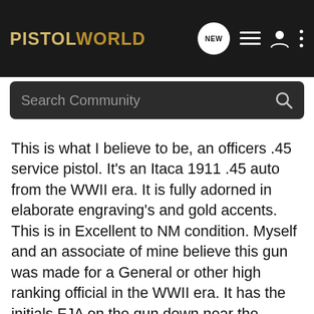PISTOLWORLD
This is what I believe to be, an officers .45 service pistol. It's an Itaca 1911 .45 auto from the WWII era. It is fully adorned in elaborate engraving's and gold accents. This is in Excellent to NM condition. Myself and an associate of mine believe this gun was made for a General or other high ranking official in the WWII era. It has the initials FJA on the gun down near the trigger This is for Frank J Atwood, He Was one of the Army inspectors at the Military arsenal. Who ever did this gun was an incredible artist. The engraving is immaculate and the gold accents make this a true one of a kind gun. As you know Ithaca .45's are rare in themselves let alone a custom one made for an officer. Engraving covers almost every square inch of the gun and it is very highly polished down to the magazine. The hammer, trigger, safety, mag release button, slide release and barrel bushing are all done in a fine gold. There is no detectable